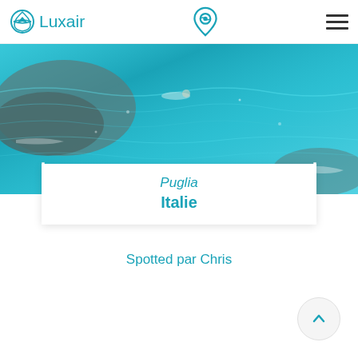Luxair
[Figure (photo): Aerial view of clear turquoise Mediterranean sea water with coastal rocks, showing a swimmer or snorkeler in the water]
Puglia
Italie
Spotted par Chris